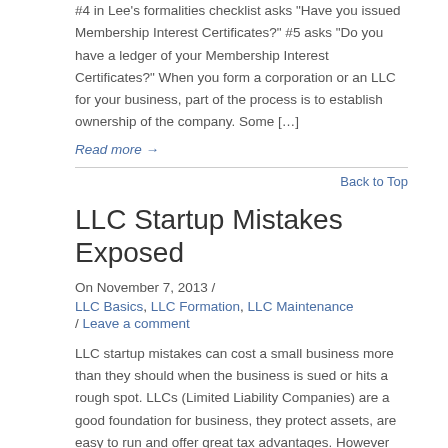#4 in Lee's formalities checklist asks "Have you issued Membership Interest Certificates?" #5 asks "Do you have a ledger of your Membership Interest Certificates?" When you form a corporation or an LLC for your business, part of the process is to establish ownership of the company. Some […]
Read more →
Back to Top
LLC Startup Mistakes Exposed
On November 7, 2013 /
LLC Basics, LLC Formation, LLC Maintenance
/ Leave a comment
LLC startup mistakes can cost a small business more than they should when the business is sued or hits a rough spot. LLCs (Limited Liability Companies) are a good foundation for business, they protect assets, are easy to run and offer great tax advantages. However there are […]